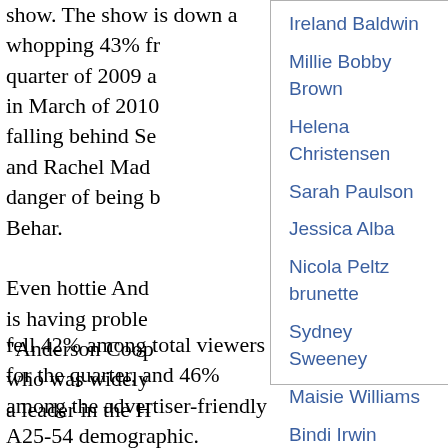show. The show is down a whopping 43% fr quarter of 2009 a in March of 2010 falling behind Se and Rachel Made danger of being b Behar.
Ireland Baldwin
Millie Bobby Brown
Helena Christensen
Sarah Paulson
Jessica Alba
Nicola Peltz brunette
Sydney Sweeney
Maisie Williams
Bindi Irwin
Bella Hadid
Even hottie Ande is having probler "Anderson Coope who was widely r a leader in the H fell 42% among total viewers for the quarter, and 46% among the advertiser-friendly A25-54 demographic. "Campbell Brown" also suffered, seeing its worst